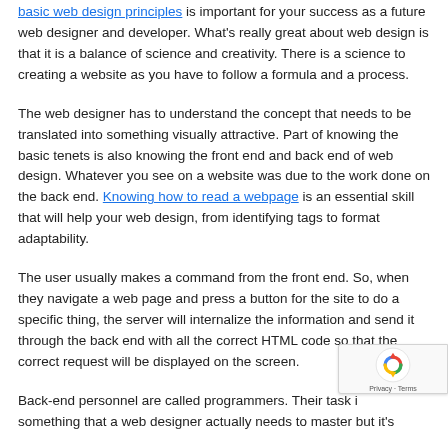Understanding the basic web design principles is important for your success as a future web designer and developer. What's really great about web design is that it is a balance of science and creativity. There is a science to creating a website as you have to follow a formula and a process.
The web designer has to understand the concept that needs to be translated into something visually attractive. Part of knowing the basic tenets is also knowing the front end and back end of web design. Whatever you see on a website was due to the work done on the back end. Knowing how to read a webpage is an essential skill that will help your web design, from identifying tags to format adaptability.
The user usually makes a command from the front end. So, when they navigate a web page and press a button for the site to do a specific thing, the server will internalize the information and send it through the back end with all the correct HTML code so that the correct request will be displayed on the screen.
Back-end personnel are called programmers. Their task is something that a web designer actually needs to master but it's